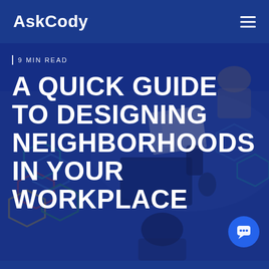AskCody
[Figure (photo): Aerial/overhead view of people working at a desk with laptops, papers, and documents, overlaid with a dark blue tint. Colorful geometric hexagon shapes visible on the floor in the background.]
9 MIN READ
A QUICK GUIDE TO DESIGNING NEIGHBORHOODS IN YOUR WORKPLACE